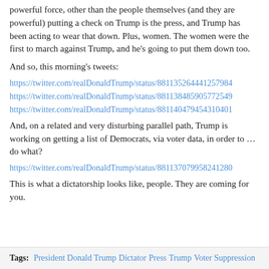powerful force, other than the people themselves (and they are powerful) putting a check on Trump is the press, and Trump has been acting to wear that down. Plus, women. The women were the first to march against Trump, and he's going to put them down too.
And so, this morning's tweets:
https://twitter.com/realDonaldTrump/status/88113526444125798... (link)
https://twitter.com/realDonaldTrump/status/88113848590577254... (link)
https://twitter.com/realDonaldTrump/status/88114047945431040... (link)
And, on a related and very disturbing parallel path, Trump is working on getting a list of Democrats, via voter data, in order to … do what?
https://twitter.com/realDonaldTrump/status/88113707995824128... (link)
This is what a dictatorship looks like, people. They are coming for you.
Tags: President Donald Trump  Dictator  Press  Trump  Voter Suppression